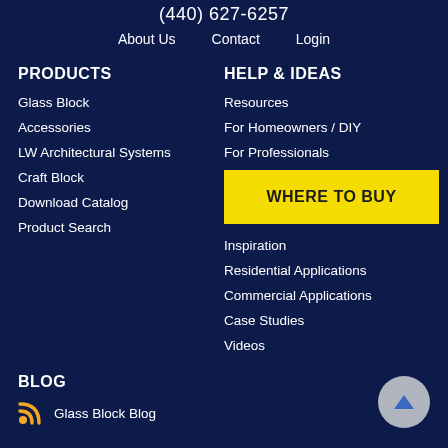(440) 627-6257
About Us    Contact    Login
PRODUCTS
Glass Block
Accessories
LW Architectural Systems
Craft Block
Download Catalog
Product Search
HELP & IDEAS
Resources
For Homeowners / DIY
For Professionals
WHERE TO BUY
Inspiration
Residential Applications
Commercial Applications
Case Studies
Videos
BLOG
Glass Block Blog